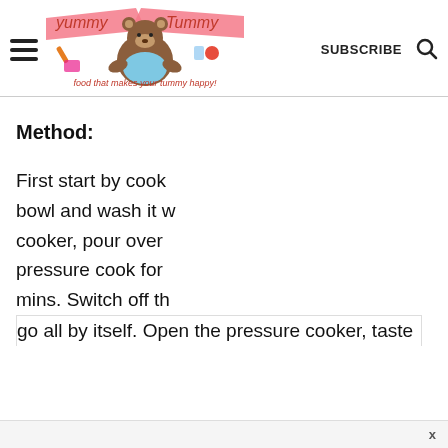Yummy Tummy — food that makes your tummy happy! | SUBSCRIBE | [search icon]
Method:
First start by cook bowl and wash it w cooker, pour over pressure cook for mins. Switch off th go all by itself. Open the pressure cooker, taste